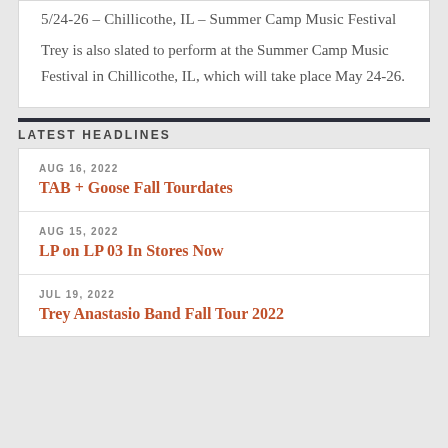5/24-26 – Chillicothe, IL – Summer Camp Music Festival
Trey is also slated to perform at the Summer Camp Music Festival in Chillicothe, IL, which will take place May 24-26.
LATEST HEADLINES
AUG 16, 2022 — TAB + Goose Fall Tourdates
AUG 15, 2022 — LP on LP 03 In Stores Now
JUL 19, 2022 — Trey Anastasio Band Fall Tour 2022